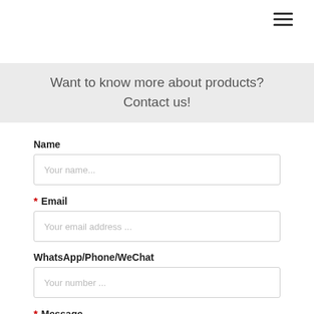[Figure (other): Hamburger menu icon (three horizontal lines) in top-right corner]
Want to know more about products? Contact us!
Name
Your name...
* Email
Your email address ...
WhatsApp/Phone/WeChat
Your number ...
* Message
Please provide your detail information and requirements such as size, weight or port of destination so that we can